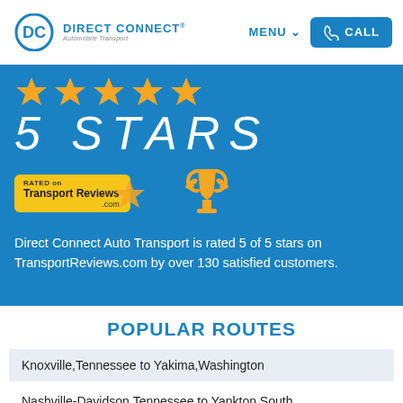DIRECT CONNECT® Automobile Transport | MENU | CALL
[Figure (infographic): 5 STARS rating banner with gold stars, Transport Reviews .com badge with star, and trophy icon on blue background. Text: Direct Connect Auto Transport is rated 5 of 5 stars on TransportReviews.com by over 130 satisfied customers.]
POPULAR ROUTES
Knoxville,Tennessee to Yakima,Washington
Nashville-Davidson,Tennessee to Yankton,South